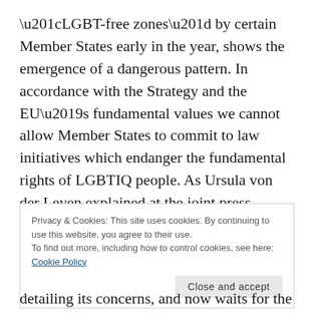“LGBT-free zones” by certain Member States early in the year, shows the emergence of a dangerous pattern. In accordance with the Strategy and the EU’s fundamental values we cannot allow Member States to commit to law initiatives which endanger the fundamental rights of LGBTIQ people. As Ursula von der Leyen explained at the joint press conference following the European Council, this is about people’s lives, their dignity, their feelings and their identity, as well as what
Privacy & Cookies: This site uses cookies. By continuing to use this website, you agree to their use.
To find out more, including how to control cookies, see here: Cookie Policy
detailing its concerns, and now waits for the